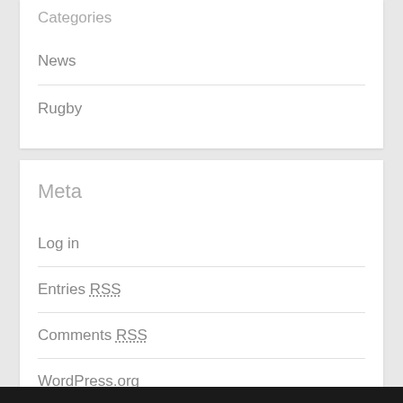Categories
News
Rugby
Meta
Log in
Entries RSS
Comments RSS
WordPress.org